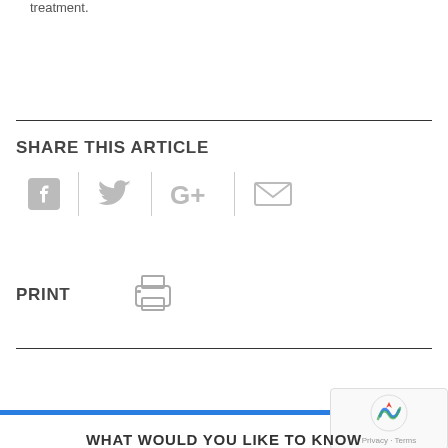treatment.
SHARE THIS ARTICLE
[Figure (other): Social share icons: Facebook, Twitter, Google+, Email]
PRINT
[Figure (other): Printer icon]
WHAT WOULD YOU LIKE TO KNOW